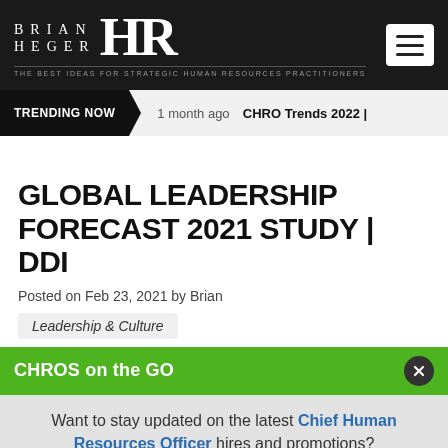BRIAN HEGER HR — The best ideas for strategic Human Resources practitioners
TRENDING NOW | 1 month ago  CHRO Trends 2022 |
GLOBAL LEADERSHIP FORECAST 2021 STUDY | DDI
Posted on Feb 23, 2021 by Brian
Leadership & Culture
CHROS on the GO
Want to stay updated on the latest Chief Human Resources Officer hires and promotions?